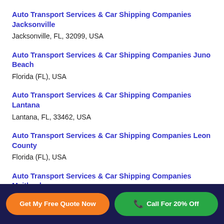Auto Transport Services & Car Shipping Companies Jacksonville
Jacksonville, FL, 32099, USA
Auto Transport Services & Car Shipping Companies Juno Beach
Florida (FL), USA
Auto Transport Services & Car Shipping Companies Lantana
Lantana, FL, 33462, USA
Auto Transport Services & Car Shipping Companies Leon County
Florida (FL), USA
Auto Transport Services & Car Shipping Companies Maitland
Get My Free Quote Now
Call For 20% Off